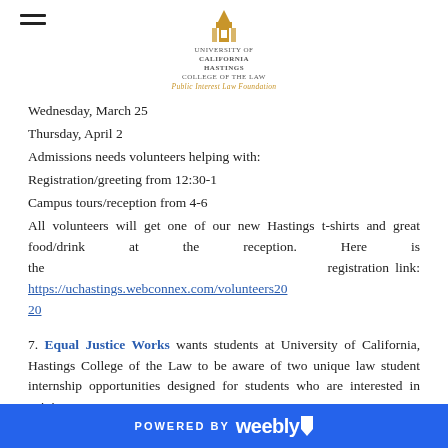University of California Hastings College of the Law – Public Interest Law Foundation
Wednesday, March 25
Thursday, April 2
Admissions needs volunteers helping with:
Registration/greeting from 12:30-1
Campus tours/reception from 4-6
All volunteers will get one of our new Hastings t-shirts and great food/drink at the reception. Here is the registration link: https://uchastings.webconnex.com/volunteers2020
7. Equal Justice Works wants students at University of California, Hastings College of the Law to be aware of two unique law student internship opportunities designed for students who are interested in gaining
POWERED BY weebly